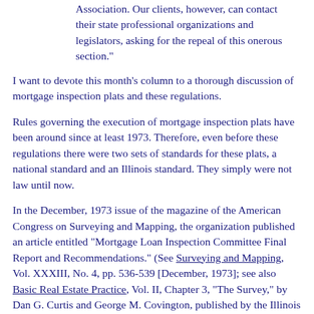Association. Our clients, however, can contact their state professional organizations and legislators, asking for the repeal of this onerous section."
I want to devote this month's column to a thorough discussion of mortgage inspection plats and these regulations.
Rules governing the execution of mortgage inspection plats have been around since at least 1973. Therefore, even before these regulations there were two sets of standards for these plats, a national standard and an Illinois standard. They simply were not law until now.
In the December, 1973 issue of the magazine of the American Congress on Surveying and Mapping, the organization published an article entitled "Mortgage Loan Inspection Committee Final Report and Recommendations." (See Surveying and Mapping, Vol. XXXIII, No. 4, pp. 536-539 [December, 1973]; see also Basic Real Estate Practice, Vol. II, Chapter 3, "The Survey," by Dan G. Curtis and George M. Covington, published by the Illinois Institute for Continuing Legal Education [IICLE], 1988, Supplement 1990). In this report a mortgage loan inspection was defined as:
"An instrumentality (author's note: not a "survey"), common to the residential